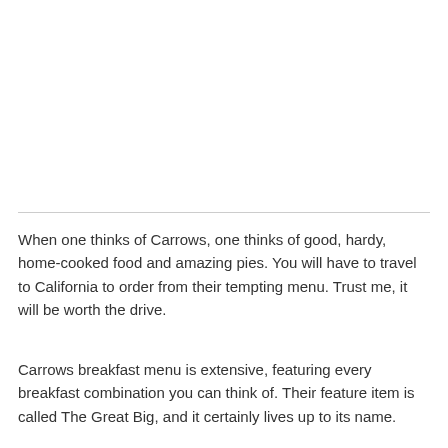When one thinks of Carrows, one thinks of good, hardy, home-cooked food and amazing pies. You will have to travel to California to order from their tempting menu. Trust me, it will be worth the drive.
Carrows breakfast menu is extensive, featuring every breakfast combination you can think of. Their feature item is called The Great Big, and it certainly lives up to its name.